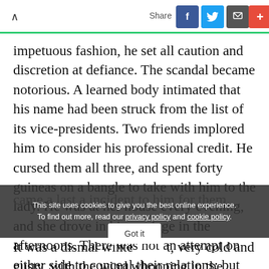Share
impetuous fashion, he set all caution and discretion at defiance. The scandal became notorious. A learned body intimated that his name had been struck from the list of its vice-presidents. Two friends implored him to consider his professional credit. He cursed them all three, and spent forty guineas on a bangle to take with him to the lady. He was at her house every evening, and she drove in his carriage in the afternoons. There was not an attempt on either side to conceal their relations; but there came a last a incident to him for them.
It was a dismal winter night, very cold and gusty, with the wind whooping in the chimneys
This site uses cookies to give you the best online experience. To find out more, read our privacy policy and cookie policy.